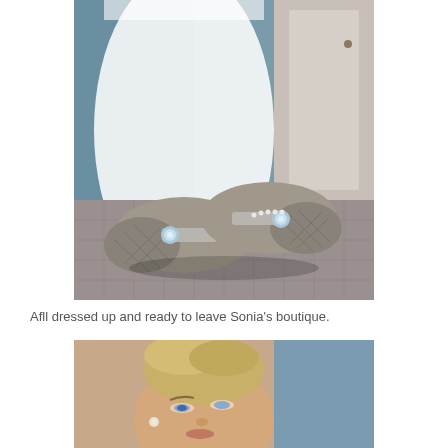[Figure (photo): Photo of silver/grey flat shoes with jewel buckles and quilted toe cap, placed on a grey quilted surface with a white wedding dress hanging in the background]
Afll dressed up and ready to leave Sonia's boutique.
[Figure (photo): Close-up photo of a blonde woman with an updo hairstyle looking upward, wearing pearl earrings, in a room with blue walls]